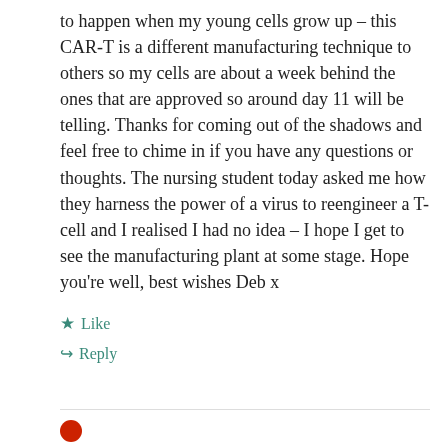to happen when my young cells grow up – this CAR-T is a different manufacturing technique to others so my cells are about a week behind the ones that are approved so around day 11 will be telling. Thanks for coming out of the shadows and feel free to chime in if you have any questions or thoughts. The nursing student today asked me how they harness the power of a virus to reengineer a T-cell and I realised I had no idea – I hope I get to see the manufacturing plant at some stage. Hope you're well, best wishes Deb x
Like
Reply